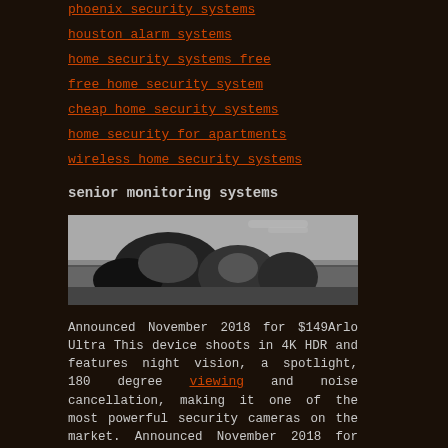phoenix security systems
houston alarm systems
home security systems free
free home security system
cheap home security systems
home security for apartments
wireless home security systems
senior monitoring systems
[Figure (photo): Black and white photo of large rocks or stone formation in a field landscape]
Announced November 2018 for $149Arlo Ultra This device shoots in 4K HDR and features night vision, a spotlight, 180 degree viewing and noise cancellation, making it one of the most powerful security cameras on the market. Announced November 2018 for $399SimCam This camera features facial recognition, two way audio and a weatherproof exterior. To top it all off, there are no cloud costs for
Blandit Etiam
“The consumer will be amazed at t see and talk with visitors at thei doorbell is an excellent add on to a dealer that may be selling a syster the video doorbell may turn out to consumer. So it’s a good win purchasing and planning, AVAD, S can close the deal on video improvement to a customer’s abilit by integrating a video doorbell with